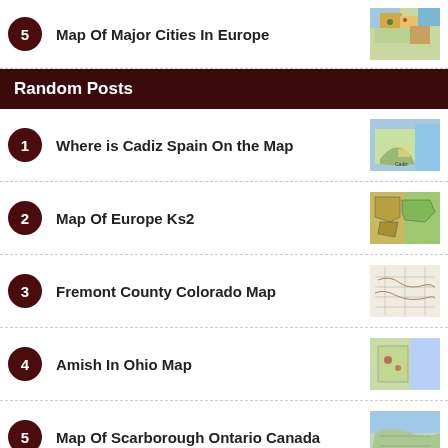5 Map Of Major Cities In Europe
Random Posts
1 Where is Cadiz Spain On the Map
2 Map Of Europe Ks2
3 Fremont County Colorado Map
4 Amish In Ohio Map
5 Map Of Scarborough Ontario Canada